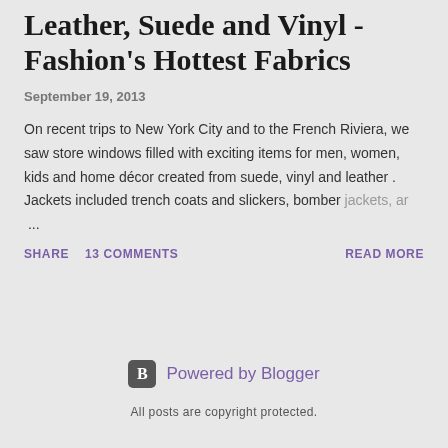Leather, Suede and Vinyl - Fashion's Hottest Fabrics
September 19, 2013
On recent trips to New York City and to the French Riviera, we saw store windows filled with exciting items for men, women, kids and home décor created from suede, vinyl and leather . Jackets included trench coats and slickers, bomber jackets, ar ...
SHARE   13 COMMENTS   READ MORE
Powered by Blogger
All posts are copyright protected.